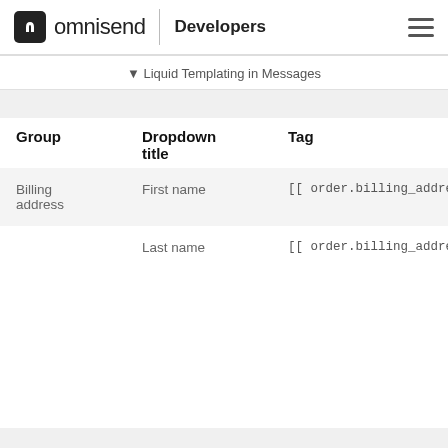omnisend | Developers
▼ Liquid Templating in Messages
| Group | Dropdown title | Tag |
| --- | --- | --- |
| Billing address | First name | [[ order.billing_address.firs |
|  | Last name | [[ order.billing_address.last |